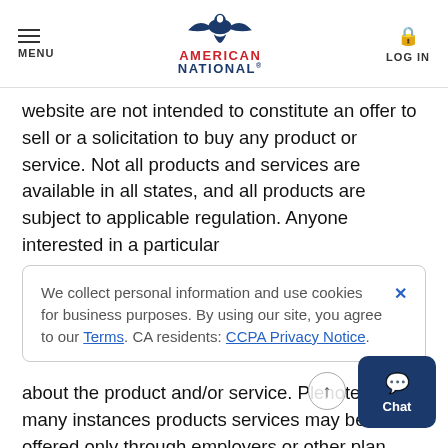MENU | AMERICAN NATIONAL | LOG IN
website are not intended to constitute an offer to sell or a solicitation to buy any product or service. Not all products and services are available in all states, and all products are subject to applicable regulation. Anyone interested in a particular
We collect personal information and use cookies for business purposes. By using our site, you agree to our Terms. CA residents: CCPA Privacy Notice.
about the product and/or service. Please note that in many instances products services may be offered only through employers or other plan sponsors. American National Group is the ultimate parent